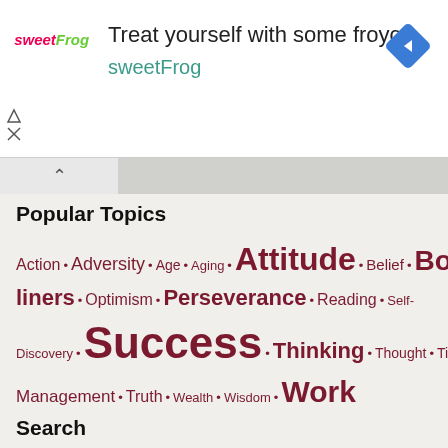[Figure (screenshot): SweetFrog advertisement banner with logo, headline 'Treat yourself with some froyo', subline 'sweetFrog', and a blue diamond directional arrow icon]
Popular Topics
Action • Adversity • Age • Aging • Attitude • Belief • Books • Business • Change • Character • Confidence • Courage • Difficulties • Failure • Faith • Fear • Freedom • Friendship • Goals • Gratitude • Happiness • Health • Hope • Kindness • Knowledge • Leadership • Life • Living • Love • Mistakes • Money • One liners • Optimism • Perseverance • Reading • Self-Discovery • Success • Thinking • Thought • Time • Time Management • Truth • Wealth • Wisdom • Work
Search